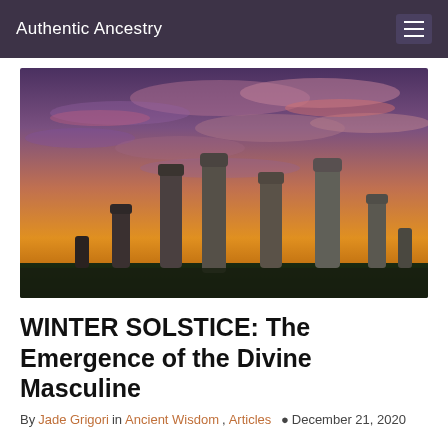Authentic Ancestry
[Figure (photo): Standing stones (stone circle) at sunset/dusk with dramatic purple-red cloudy sky, sun burst glowing between the tall ancient megaliths, green ground cover visible at base. Reminiscent of the Callanish Standing Stones in Scotland.]
WINTER SOLSTICE: The Emergence of the Divine Masculine
By Jade Grigori in Ancient Wisdom, Articles  December 21, 2020